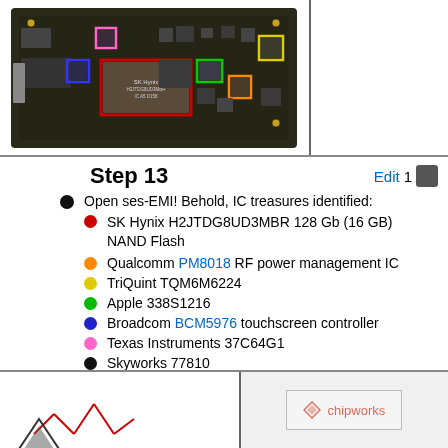[Figure (photo): iPhone logic board with colored rectangles highlighting various ICs: red (SK Hynix NAND), orange (Qualcomm PM8018), yellow (TriQuint TQM6M6224), green (Apple 338S1216), blue (Broadcom BCM5976), pink (Texas Instruments 37C64G1), black (Skyworks 77810)]
Step 13
Open ses-EMI! Behold, IC treasures identified:
SK Hynix H2JTDG8UD3MBR 128 Gb (16 GB) NAND Flash
Qualcomm PM8018 RF power management IC
TriQuint TQM6M6224
Apple 338S1216
Broadcom BCM5976 touchscreen controller
Texas Instruments 37C64G1
Skyworks 77810
[Figure (photo): Bottom portion of another circuit board photo, partially visible, with a Chipworks watermark overlay in red text]